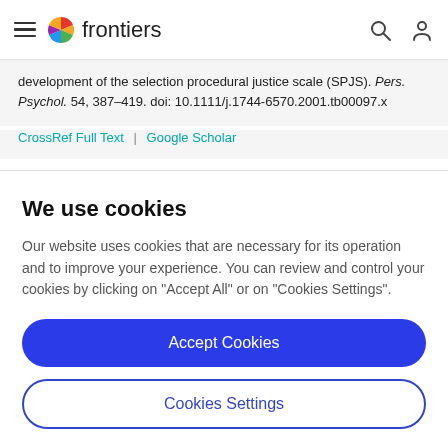frontiers
development of the selection procedural justice scale (SPJS). Pers. Psychol. 54, 387–419. doi: 10.1111/j.1744-6570.2001.tb00097.x
CrossRef Full Text | Google Scholar
We use cookies
Our website uses cookies that are necessary for its operation and to improve your experience. You can review and control your cookies by clicking on "Accept All" or on "Cookies Settings".
Accept Cookies
Cookies Settings